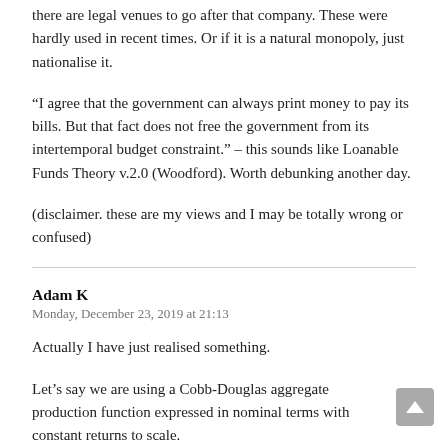there are legal venues to go after that company. These were hardly used in recent times. Or if it is a natural monopoly, just nationalise it.
“I agree that the government can always print money to pay its bills. But that fact does not free the government from its intertemporal budget constraint.” – this sounds like Loanable Funds Theory v.2.0 (Woodford). Worth debunking another day.
(disclaimer. these are my views and I may be totally wrong or confused)
Adam K
Monday, December 23, 2019 at 21:13
Actually I have just realised something.
Let’s say we are using a Cobb-Douglas aggregate production function expressed in nominal terms with constant returns to scale.